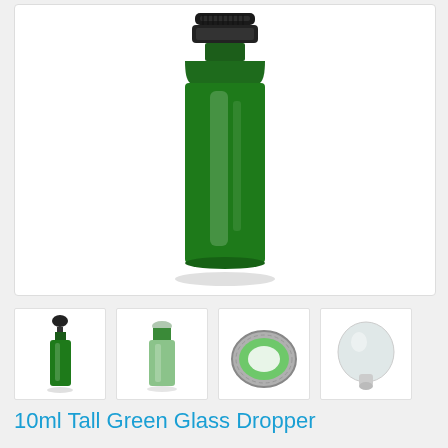[Figure (photo): Large green glass dropper bottle with black cap, photographed on white background. Main product image.]
[Figure (photo): Thumbnail row showing four views: 1) green dropper bottle with dropper cap, 2) green bottle without cap top view, 3) top-down view of green bottle opening with metal ring, 4) white rubber dropper bulb component.]
10ml Tall Green Glass Dropper